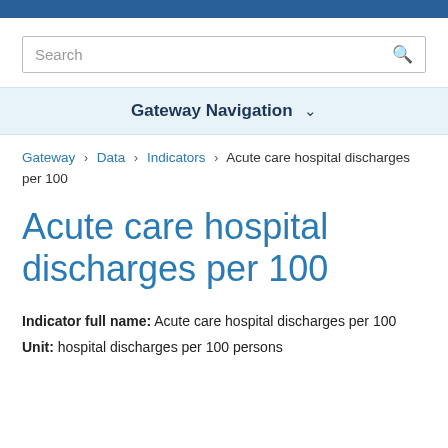Search
Gateway Navigation ▾
Gateway › Data › Indicators › Acute care hospital discharges per 100
Acute care hospital discharges per 100
Indicator full name: Acute care hospital discharges per 100
Unit: hospital discharges per 100 persons